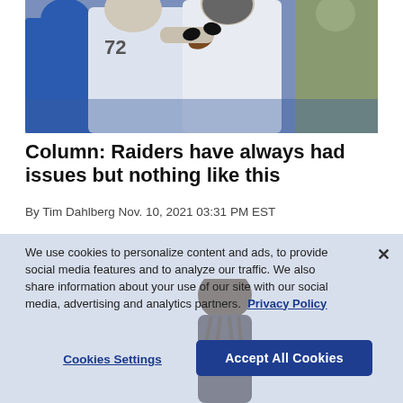[Figure (photo): Football players in white uniforms during a game, with a player in blue jersey visible at left and a military person in background at right.]
Column: Raiders have always had issues but nothing like this
By Tim Dahlberg Nov. 10, 2021 03:31 PM EST
We use cookies to personalize content and ads, to provide social media features and to analyze our traffic. We also share information about your use of our site with our social media, advertising and analytics partners.  Privacy Policy
Cookies Settings
Accept All Cookies